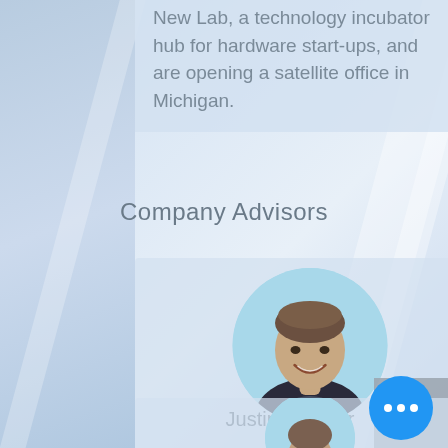New Lab, a technology incubator hub for hardware start-ups, and are opening a satellite office in Michigan.
Company Advisors
[Figure (photo): Circular portrait photo of Justin Bergner, a man with short brown hair wearing a dark sweater over a checked shirt, smiling, on a light blue circular background]
Justin Bergner
[Figure (photo): Partial circular portrait photo of a second advisor, cropped at the bottom of the page, on a light blue circular background]